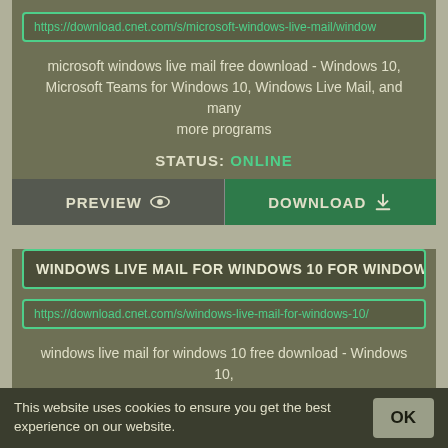https://download.cnet.com/s/microsoft-windows-live-mail/window
microsoft windows live mail free download - Windows 10, Microsoft Teams for Windows 10, Windows Live Mail, and many more programs
STATUS: ONLINE
PREVIEW
DOWNLOAD
WINDOWS LIVE MAIL FOR WINDOWS 10 FOR WINDOWS
https://download.cnet.com/s/windows-live-mail-for-windows-10/
windows live mail for windows 10 free download - Windows 10, Apple Safari, Windows Live Mail, and many more programs
STATUS: ONLINE
This website uses cookies to ensure you get the best experience on our website.
OK